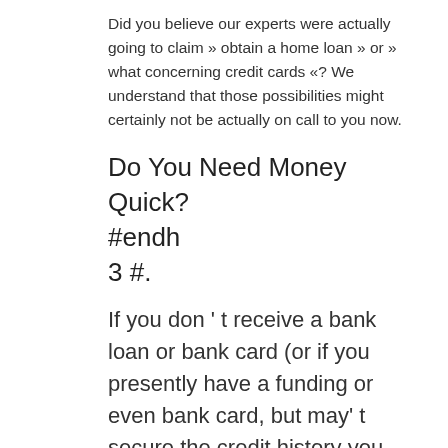Did you believe our experts were actually going to claim » obtain a home loan » or » what concerning credit cards «? We understand that those possibilities might certainly not be actually on call to you now.
Do You Need Money Quick?
#endh
3 #.
If you don ' t receive a bank loan or bank card (or if you presently have a funding or even bank card, but may' t secure the credit history you need coming from those sources), you' re most likely searching for a various short-term option. However, along withnumerous predacious short-term lenders on the market, it